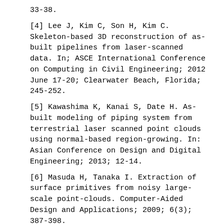33-38.
[4] Lee J, Kim C, Son H, Kim C. Skeleton-based 3D reconstruction of as-built pipelines from laser-scanned data. In; ASCE International Conference on Computing in Civil Engineering; 2012 June 17-20; Clearwater Beach, Florida; 245-252.
[5] Kawashima K, Kanai S, Date H. As-built modeling of piping system from terrestrial laser scanned point clouds using normal-based region-growing. In: Asian Conference on Design and Digital Engineering; 2013; 12-14.
[6] Masuda H, Tanaka I. Extraction of surface primitives from noisy large-scale point-clouds. Computer-Aided Design and Applications; 2009; 6(3); 387-398.
[7] Masuda H, Tanaka I. As-built 3D modeling of large facilities based on interactive feature editing extraction of surface primitives from noisy large-scale point-clouds. Computer-Aided Design and Applications. 2010; 7(3); 349-360.
[8] Mizoguchi T, Kuma T, Kobayashi Y, Shirai K.